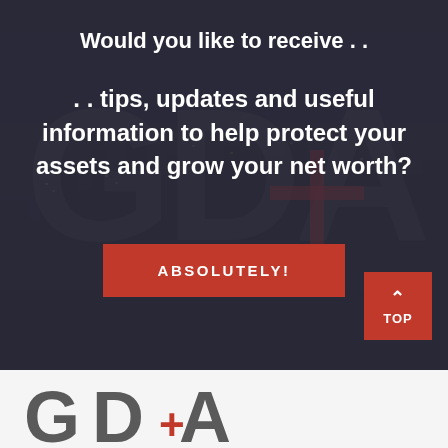[Figure (photo): City skyline at night with dark overlay, GDA watermark letters in background, and a red cross/plus symbol overlay]
Would you like to receive . .
. . tips, updates and useful information to help protect your assets and grow your net worth?
ABSOLUTELY!
TOP
[Figure (logo): GDA logo with red plus sign between G and A letters in gray]